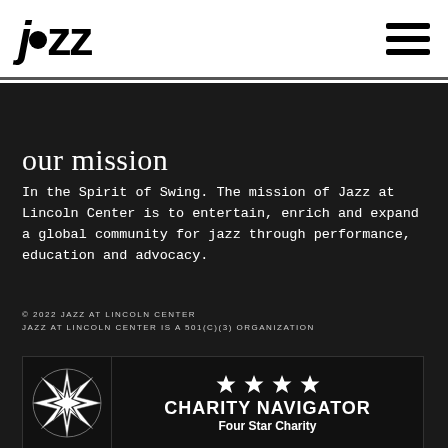jazz (logo) | hamburger menu
our mission
In the Spirit of Swing. The mission of Jazz at Lincoln Center is to entertain, enrich and expand a global community for jazz through performance, education and advocacy.
© 2022 JAZZ AT LINCOLN CENTER
JAZZ AT LINCOLN CENTER IS A 501(C)(3) ORGANIZATION
[Figure (logo): Charity Navigator four star charity badge with star compass logo on left and four white stars above 'CHARITY NAVIGATOR' and 'Four Star Charity' text on right]